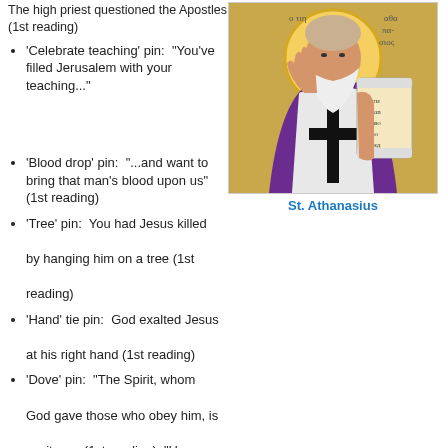The high priest questioned the Apostles (1st reading)
'Celebrate teaching' pin: "You've filled Jerusalem with your teaching..."
[Figure (photo): Icon painting of St. Athanasius, an elderly bearded bishop in purple and white robes holding a scroll with Slavonic text, with a golden halo]
St. Athanasius
'Blood drop' pin: "...and want to bring that man's blood upon us" (1st reading)
'Tree' pin: You had Jesus killed by hanging him on a tree (1st reading)
'Hand' tie pin: God exalted Jesus at his right hand (1st reading)
'Dove' pin: "The Spirit, whom God gave those who obey him, is a witness (1st reading); "He doesn't ration this gift of the Spirit" (gospel)
'Car with mouth' pin: The Lord's praise shall be ever in my mouth (psalm)
NEW 'grapes, wheat, and chalice' tie pin, 'eyeball' pin: "Taste and see the Lord's goodness" (psalm)